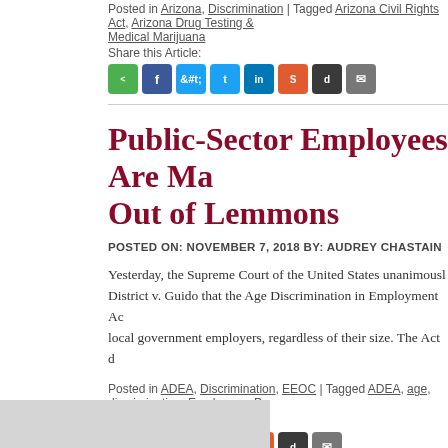Posted in Arizona, Discrimination | Tagged Arizona Civil Rights Act, Arizona Drug Testing & Medical Marijuana
Share this Article:
[Figure (other): Social share buttons: share, Facebook, Twitter, LinkedIn, StumbleUpon, Digg, Email]
Public-Sector Employees Are Making Lemonade Out of Lemmons
POSTED ON: NOVEMBER 7, 2018 BY: AUDREY CHASTAIN
Yesterday, the Supreme Court of the United States unanimously held in Mount Lemmon Fire District v. Guido that the Age Discrimination in Employment Act (ADEA) applies to state and local government employers, regardless of their size. The Act d
Posted in ADEA, Discrimination, EEOC | Tagged ADEA, age, discrimination, Employees, Pu…
Share this Article:
[Figure (other): Social share buttons: share, Facebook, Twitter, LinkedIn, StumbleUpon, Digg, Email]